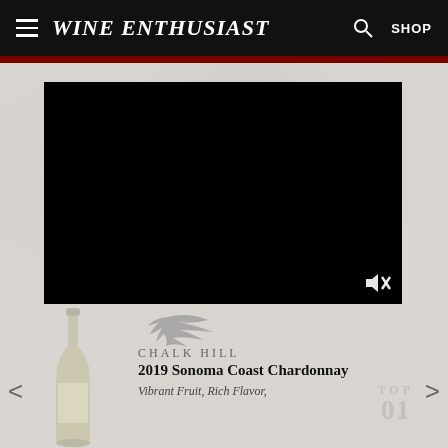Wine Enthusiast | SHOP
[Figure (screenshot): Black video player rectangle with mute icon in bottom-right corner, shown on marble background]
[Figure (photo): White wine bottle (Chalk Hill), partially visible, on marble background]
[Figure (logo): Chalk Hill winery logo with stylized bird/feather graphic above the text CHALK HILL]
2019 Sonoma Coast Chardonnay
Vibrant Fruit, Rich Flavor,
TOP 01